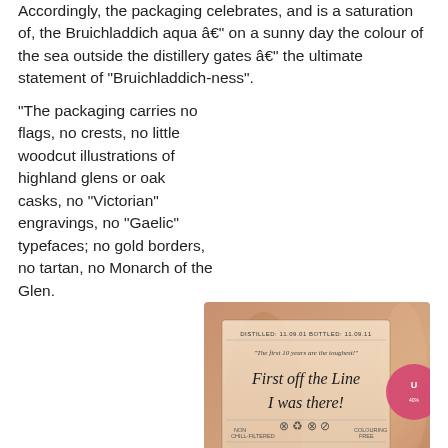Accordingly, the packaging celebrates, and is a saturation of, the Bruichladdich aqua â€" on a sunny day the colour of the sea outside the distillery gates â€" the ultimate statement of "Bruichladdich-ness".
"The packaging carries no flags, no crests, no little woodcut illustrations of highland glens or oak casks, no "Victorian" engravings, no "Gaelic" typefaces; no gold borders, no tartan, no Monarch of the Glen. No fake heritage to hide behind, just our aqua, and our own progressive, modern information typography. And Jim McEwanâ€™s signature is reproduced on every tin â€" the man who made it."
[Figure (photo): Close-up photograph of a whisky bottle label reading 'First off the Line I was there!' with distilled date 11.09.01 and bottled date 11.09.11, noting it is non chill-filtered, colouring free, distilled matured and bottled at Bruichladdich Distillery, Isle of Islay, Scotland. www.bruichladdich.com PRODUCT OF SCOTLAND]
To celebrate this special occasion Bruichladdich offers a one-off opportunity. On Sunday 11th visitors at the distillery only will have the opportunity to buy one special edition